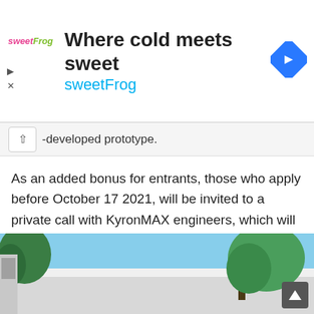[Figure (screenshot): SweetFrog advertisement banner showing logo, 'Where cold meets sweet' headline, and navigation arrow icon]
-developed prototype.
As an added bonus for entrants, those who apply before October 17 2021, will be invited to a private call with KyronMAX engineers, which will review and provide personal feedback on their entry. While the material itself is not expected to launch until later this year, the contest is already open for entries, with applications set to close on November 14 2021, and the winner to be announced on December 9 2021.
[Figure (photo): Outdoor photo showing trees, building with white roof, and blue sky]